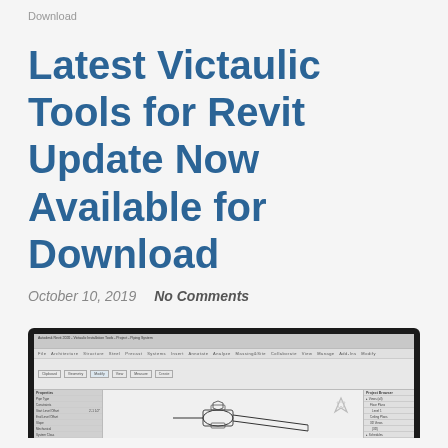Download
Latest Victaulic Tools for Revit Update Now Available for Download
October 10, 2019    No Comments
[Figure (screenshot): Screenshot of Victaulic Tools for Revit software interface showing a CAD drawing of a pipe fitting/coupling component displayed in Autodesk Revit environment with property panels on the left and a project browser on the right.]